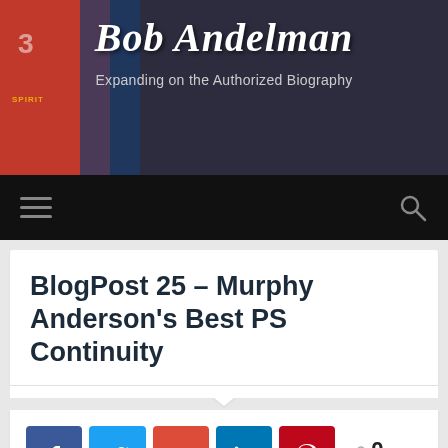Bob Andelman
Expanding on the Authorized Biography
BlogPost 25 – Murphy Anderson's Best PS Continuity
[Figure (screenshot): Social share buttons: Facebook, Twitter, Google+, LinkedIn, Pinterest. Share count: 0 SHARES.]
[Figure (photo): Bottom banner: Joe Kubert and Paul C. Fitzgerald invite you... PS Six Effective Decades]